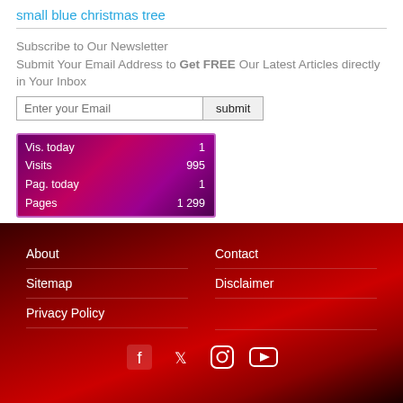small blue christmas tree
Subscribe to Our Newsletter
Submit Your Email Address to Get FREE Our Latest Articles directly in Your Inbox
[Figure (table-as-image): Stats widget showing: Vis. today 1, Visits 995, Pag. today 1, Pages 1 299]
About | Contact | Sitemap | Disclaimer | Privacy Policy | Social icons: Facebook, Twitter, Instagram, YouTube